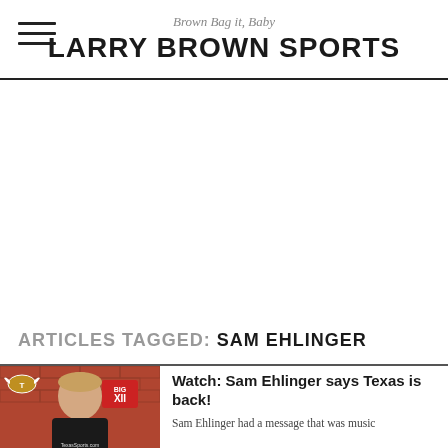Brown Bag it, Baby — LARRY BROWN SPORTS
ARTICLES TAGGED: SAM EHLINGER
[Figure (photo): Sam Ehlinger headshot in Texas Longhorns gear with Big 12 logo]
Watch: Sam Ehlinger says Texas is back!
Sam Ehlinger had a message that was music...